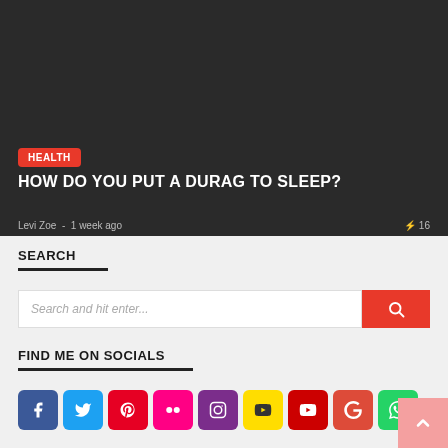[Figure (photo): Dark hero image with black background showing a featured article thumbnail]
HEALTH
HOW DO YOU PUT A DURAG TO SLEEP?
Levi Zoe  -  1 week ago   ⚡ 16
SEARCH
Search and hit enter...
FIND ME ON SOCIALS